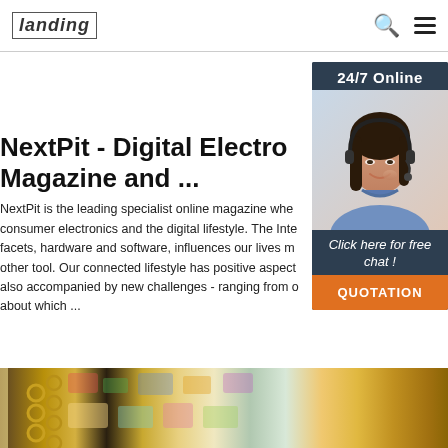landing [logo] | search icon | menu icon
NextPit - Digital Consumer Electronics Magazine and ...
NextPit is the leading specialist online magazine where consumer electronics and the digital lifestyle. The Internet facets, hardware and software, influences our lives more other tool. Our connected lifestyle has positive aspects, also accompanied by new challenges - ranging from about which ...
[Figure (infographic): 24/7 Online customer service advertisement panel with woman wearing headset, and 'Click here for free chat!' text with orange QUOTATION button]
Get Price
[Figure (photo): Close-up photo of decorative notebooks or journals with colorful patterned covers and gold spiral binding]